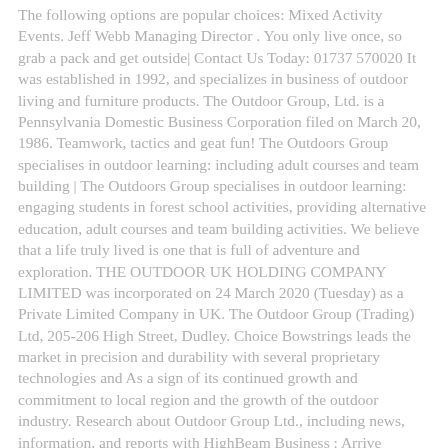The following options are popular choices: Mixed Activity Events. Jeff Webb Managing Director . You only live once, so grab a pack and get outside| Contact Us Today: 01737 570020 It was established in 1992, and specializes in business of outdoor living and furniture products. The Outdoor Group, Ltd. is a Pennsylvania Domestic Business Corporation filed on March 20, 1986. Teamwork, tactics and geat fun! The Outdoors Group specialises in outdoor learning: including adult courses and team building | The Outdoors Group specialises in outdoor learning: engaging students in forest school activities, providing alternative education, adult courses and team building activities. We believe that a life truly lived is one that is full of adventure and exploration. THE OUTDOOR UK HOLDING COMPANY LIMITED was incorporated on 24 March 2020 (Tuesday) as a Private Limited Company in UK. The Outdoor Group (Trading) Ltd, 205-206 High Street, Dudley. Choice Bowstrings leads the market in precision and durability with several proprietary technologies and As a sign of its continued growth and commitment to local region and the growth of the outdoor industry. Research about Outdoor Group Ltd., including news, information, and reports with HighBeam Business : Arrive Prepared . The company registered for GST on 2000-07-10. Join us| Outdoori is the number one source of the outdoor industry news and information. Flickr is almost certainly the best online photo